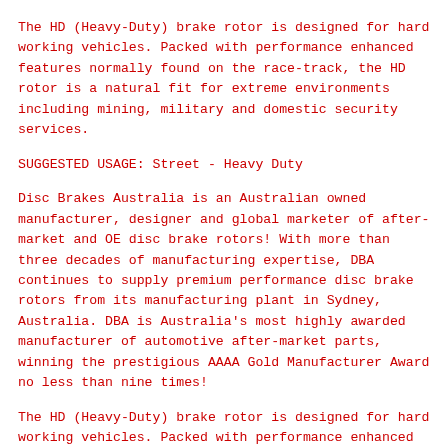The HD (Heavy-Duty) brake rotor is designed for hard working vehicles. Packed with performance enhanced features normally found on the race-track, the HD rotor is a natural fit for extreme environments including mining, military and domestic security services.
SUGGESTED USAGE: Street - Heavy Duty
Disc Brakes Australia is an Australian owned manufacturer, designer and global marketer of after-market and OE disc brake rotors! With more than three decades of manufacturing expertise, DBA continues to supply premium performance disc brake rotors from its manufacturing plant in Sydney, Australia. DBA is Australia's most highly awarded manufacturer of automotive after-market parts, winning the prestigious AAAA Gold Manufacturer Award no less than nine times!
The HD (Heavy-Duty) brake rotor is designed for hard working vehicles. Packed with performance enhanced features normally found on the race-track, the HD rotor is a natural fit for extreme environments including mining, military and domestic security services.